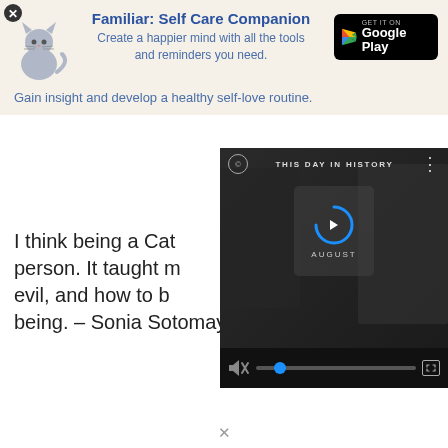[Figure (infographic): Close button (X) in top-left corner]
[Figure (infographic): Advertisement banner for 'Familiar: Self Care Companion' app with cat illustration and Google Play button. Title: 'Familiar: Self Care Companion'. Subtitle: 'Create a happier mind with all the tools and reminders you need.' Tagline: 'Gain insight and develop a healthy self-love routine.']
I think being a Cat– person. It taught m– evil, and how to b– being. – Sonia Sotomayor
[Figure (screenshot): Video player overlay showing 'THIS DAY IN HISTORY' with a play button, AUGUST label, mute icon, progress bar with blue dot, and fullscreen icon. Dark background with person silhouette visible.]